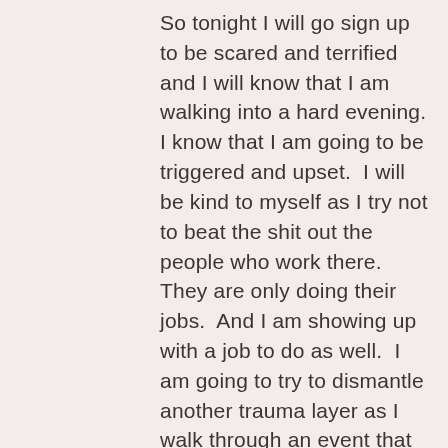So tonight I will go sign up to be scared and terrified and I will know that I am walking into a hard evening. I know that I am going to be triggered and upset.  I will be kind to myself as I try not to beat the shit out the people who work there.  They are only doing their jobs.  And I am showing up with a job to do as well.  I am going to try to dismantle another trauma layer as I walk through an event that would have completely undone me in the past.  I am going to endeavor to do this while not shutting down and off.  We will see how that goes.  I am not making promises.  Instead, I am setting an intention that I go and be of service to my daughter and